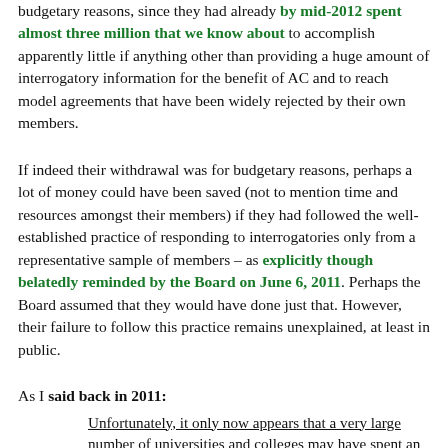budgetary reasons, since they had already by mid-2012 spent almost three million that we know about to accomplish apparently little if anything other than providing a huge amount of interrogatory information for the benefit of AC and to reach model agreements that have been widely rejected by their own members.
If indeed their withdrawal was for budgetary reasons, perhaps a lot of money could have been saved (not to mention time and resources amongst their members) if they had followed the well-established practice of responding to interrogatories only from a representative sample of members – as explicitly though belatedly reminded by the Board on June 6, 2011. Perhaps the Board assumed that they would have done just that. However, their failure to follow this practice remains unexplained, at least in public.
As I said back in 2011: Unfortunately, it only now appears that a very large number of universities and colleges may have spent an incalculable amount of time providing answers that could turn out to have been unnecessary. Even the smallest of the two hundred or so affected institutions has probably spent hundreds of person/hours on this process. One can only